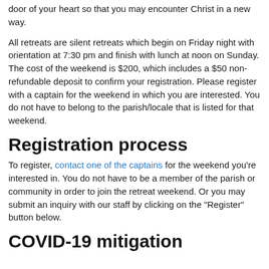door of your heart so that you may encounter Christ in a new way.
All retreats are silent retreats which begin on Friday night with orientation at 7:30 pm and finish with lunch at noon on Sunday. The cost of the weekend is $200, which includes a $50 non-refundable deposit to confirm your registration. Please register with a captain for the weekend in which you are interested. You do not have to belong to the parish/locale that is listed for that weekend.
Registration process
To register, contact one of the captains for the weekend you're interested in. You do not have to be a member of the parish or community in order to join the retreat weekend. Or you may submit an inquiry with our staff by clicking on the "Register" button below.
COVID-19 mitigation